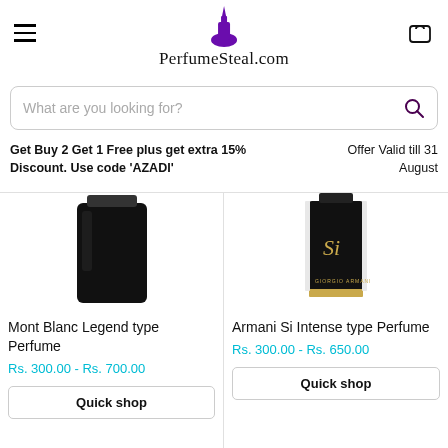PerfumeSteal.com
What are you looking for?
Get Buy 2 Get 1 Free plus get extra 15% Discount. Use code 'AZADI'    Offer Valid till 31 August
[Figure (photo): Product image of Mont Blanc Legend type Perfume - black cylindrical perfume bottle]
Mont Blanc Legend type Perfume
Rs. 300.00 - Rs. 700.00
Quick shop
[Figure (photo): Product image of Armani Si Intense type Perfume - black rectangular bottle with gold text 'Si']
Armani Si Intense type Perfume
Rs. 300.00 - Rs. 650.00
Quick shop